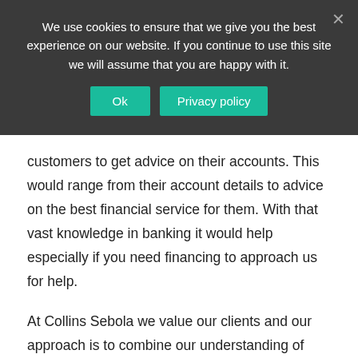We use cookies to ensure that we give you the best experience on our website. If you continue to use this site we will assume that you are happy with it.
customers to get advice on their accounts. This would range from their account details to advice on the best financial service for them. With that vast knowledge in banking it would help especially if you need financing to approach us for help.
At Collins Sebola we value our clients and our approach is to combine our understanding of user behaviour with a commitment to meeting the business goals of our clients. Our staff is diverse and talented in all aspects of accounting SARS matters, CIDB and CIPC, including BBBEE. We have a lot more about it showing in the relation